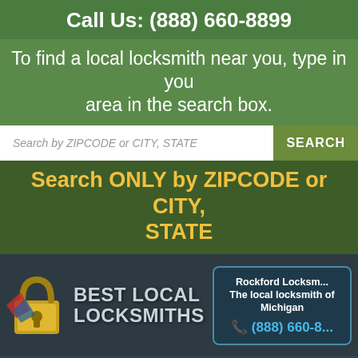Call Us: (888) 660-8899
To find a local locksmith near you, type in your area in the search box.
Search by ZIPCODE or CITY, STATE
SEARCH
Search ONLY by ZIPCODE or CITY, STATE
[Figure (logo): Best Local Locksmiths logo with padlock icon]
Rockford Locksm... The local locksmith of Michigan ☎ (888) 660-8...
Home   Locksmiths   Services   Blog   Testimonials
Rockford MI : 24 Hour Emergency Locksmith Service